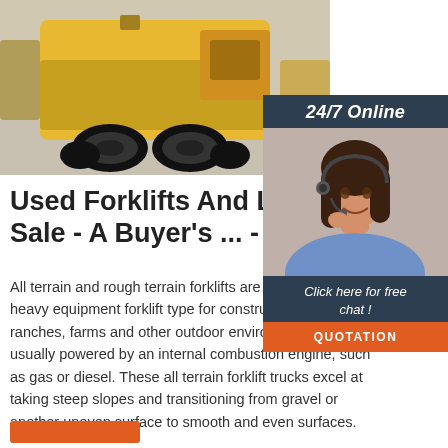[Figure (photo): Yellow forklift/compactor vehicle photographed from the rear, showing large black tires on a concrete floor in an industrial setting. Additional yellow forklifts visible in the background.]
[Figure (photo): 24/7 Online chat widget with dark blue background, showing a smiling woman with a headset representing a customer service agent, with 'Click here for free chat!' text and an orange QUOTATION button.]
Used Forklifts And Lift Trucks Sale - A Buyer's ... - SJF
All terrain and rough terrain forklifts are the premier heavy equipment forklift type for construction sites, ranches, farms and other outdoor environments and are usually powered by an internal combustion engine, such as gas or diesel. These all terrain forklift trucks excel at taking steep slopes and transitioning from gravel or another uneven surface to smooth and even surfaces.